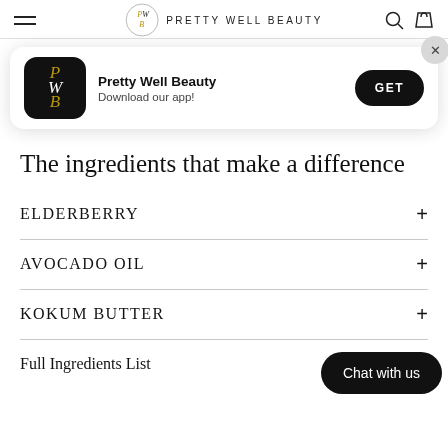PRETTY WELL BEAUTY (navigation bar with hamburger menu, logo, search and bag icons)
[Figure (screenshot): App download banner: Pretty Well Beauty app icon (black square with PWB letters), text 'Pretty Well Beauty / Download our app!' and a black GET button, with a close (X) button in top right corner]
The ingredients that make a difference
ELDERBERRY +
AVOCADO OIL +
KOKUM BUTTER +
Full Ingredients List +
[Figure (other): Chat with us button (black pill-shaped button with white text 'Chat with us')]